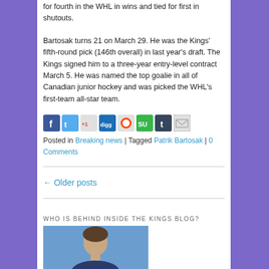for fourth in the WHL in wins and tied for first in shutouts.
Bartosak turns 21 on March 29. He was the Kings' fifth-round pick (146th overall) in last year's draft. The Kings signed him to a three-year entry-level contract March 5. He was named the top goalie in all of Canadian junior hockey and was picked the WHL's first-team all-star team.
[Figure (other): Row of social sharing icons: Facebook, Twitter, Google+1, Digg, Reddit, StumbleUpon, Tumblr, Email]
Posted in Breaking news | Tagged Patrik Bartosak | 0 Comments
← Older posts
WHO IS BEHIND INSIDE THE KINGS BLOG?
[Figure (photo): Headshot photo of a person against a blue background, cropped at the bottom of the page]